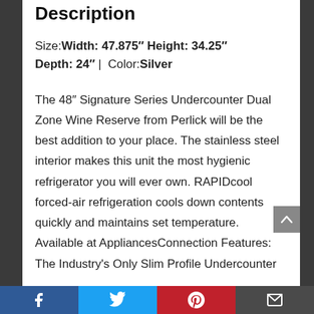Description
Size: Width: 47.875″ Height: 34.25″ Depth: 24″ | Color: Silver
The 48″ Signature Series Undercounter Dual Zone Wine Reserve from Perlick will be the best addition to your place. The stainless steel interior makes this unit the most hygienic refrigerator you will ever own. RAPIDcool forced-air refrigeration cools down contents quickly and maintains set temperature. Available at AppliancesConnection Features: The Industry's Only Slim Profile Undercounter
Facebook | Twitter | Pinterest | Email